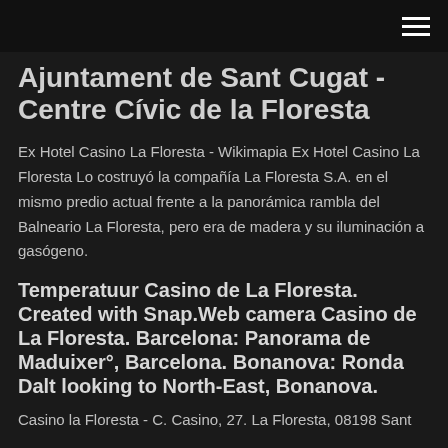Ajuntament de Sant Cugat - Centre Cívic de la Floresta
Ex Hotel Casino La Floresta - Wikimapia Ex Hotel Casino La Floresta Lo costruyó la compañía La Floresta S.A. en el mismo predio actual frente a la panorámica rambla del Balneario La Floresta, pero era de madera y su iluminación a gasógeno.
Temperatuur Casino de La Floresta. Created with Snap.Web camera Casino de La Floresta. Barcelona: Panorama de Maduixer°, Barcelona. Bonanova: Ronda Dalt looking to North-East, Bonanova.
Casino la Floresta - C. Casino, 27. La Floresta, 08198 Sant